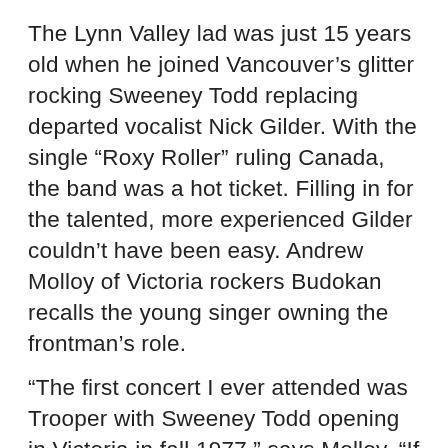The Lynn Valley lad was just 15 years old when he joined Vancouver’s glitter rocking Sweeney Todd replacing departed vocalist Nick Gilder. With the single “Roxy Roller” ruling Canada, the band was a hot ticket. Filling in for the talented, more experienced Gilder couldn’t have been easy. Andrew Molloy of Victoria rockers Budokan recalls the young singer owning the frontman’s role.
“The first concert I ever attended was Trooper with Sweeney Todd opening in Victoria in fall 1977,” says Molloy. “If Wishes Were Horses had just been released with Adams singing on it and the band opened with the epic title tune. He came out in a top hat, long shag cut and was awesome. It set me on the course I continue to follow and its